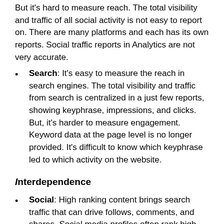But it's hard to measure reach. The total visibility and traffic of all social activity is not easy to report on. There are many platforms and each has its own reports. Social traffic reports in Analytics are not very accurate.
Search: It's easy to measure the reach in search engines. The total visibility and traffic from search is centralized in a just few reports, showing keyphrase, impressions, and clicks. But, it's harder to measure engagement. Keyword data at the page level is no longer provided. It's difficult to know which keyphrase led to which activity on the website.
Interdependence
Social: High ranking content brings search traffic that can drive follows, comments, and shares. Social media profiles often rank high. Google Authorship puts social right into search results.
Search: Smart SEOs know that ranking and links are the outcome of relationships. Blogger relations,